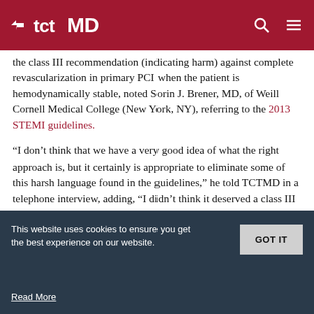tctMD
the class III recommendation (indicating harm) against complete revascularization in primary PCI when the patient is hemodynamically stable, noted Sorin J. Brener, MD, of Weill Cornell Medical College (New York, NY), referring to the 2013 STEMI guidelines.
“I don’t think that we have a very good idea of what the right approach is, but it certainly is appropriate to eliminate some of this harsh language found in the guidelines,” he told TCTMD in a telephone interview, adding, “I didn’t think it deserved a class III recommendation to begin with.”
Dr. Reilly, who is also the chair of the public relations
This website uses cookies to ensure you get the best experience on our website.
Read More